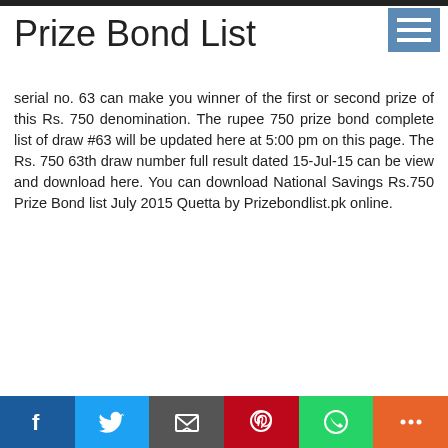Prize Bond List
serial no. 63 can make you winner of the first or second prize of this Rs. 750 denomination. The rupee 750 prize bond complete list of draw #63 will be updated here at 5:00 pm on this page. The Rs. 750 63th draw number full result dated 15-Jul-15 can be view and download here. You can download National Savings Rs.750 Prize Bond list July 2015 Quetta by Prizebondlist.pk online.
Social share buttons: Facebook, Twitter, Email, Pinterest, WhatsApp, More